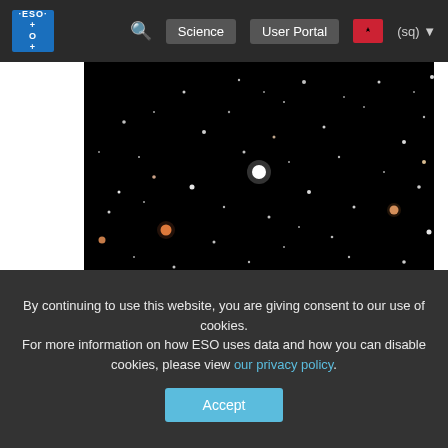ESO Science User Portal (sq)
[Figure (photo): Astronomical star field image showing numerous stars of varying brightness against a black background, from Nova Centauri 2013 observations]
The chemical element lithium has been found for the first time in material ejected by a nova. Observations of Nova Centauri 2013 made using telescopes at ESO’s La Silla Observatory, and near Santiago in Chile, help to explain the mystery of why many young stars seem to have more of this chemical element than expected. This new finding fills in a long-missing piece in the puzzle representing our galaxy’s chemical evolution, and is a big step forward for astronomers trying to understand the
By continuing to use this website, you are giving consent to our use of cookies.
For more information on how ESO uses data and how you can disable cookies, please view our privacy policy.
Accept